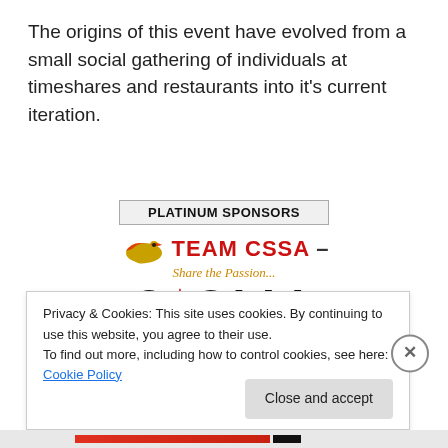The origins of this event have evolved from a small social gathering of individuals at timeshares and restaurants into it's current iteration.
[Figure (logo): Platinum Sponsors section with three logos: Team CSSA (Share the Passion), CSAAA (Canadian Sporting Arms and Ammunition Association), and Calgary Shooting Centre]
Privacy & Cookies: This site uses cookies. By continuing to use this website, you agree to their use.
To find out more, including how to control cookies, see here: Cookie Policy